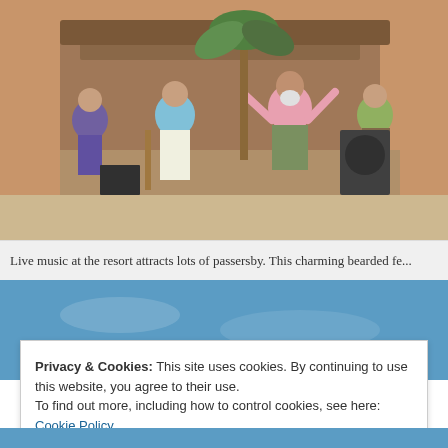[Figure (photo): Outdoor live music performance at a beach resort. A bearded man in a pink shirt dances with arms raised on a wooden stage. Musicians with guitars and audio equipment are visible in the background. Palm trees and resort buildings are in the background. Sandy beach area in the foreground.]
Live music at the resort attracts lots of passersby. This charming bearded fe...
[Figure (photo): Blue sky with light clouds, partially visible section of a travel/resort website.]
Privacy & Cookies: This site uses cookies. By continuing to use this website, you agree to their use.
To find out more, including how to control cookies, see here: Cookie Policy